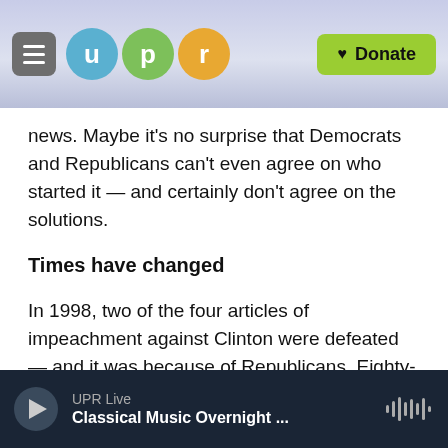UPR - Donate
news. Maybe it's no surprise that Democrats and Republicans can't even agree on who started it — and certainly don't agree on the solutions.
Times have changed
In 1998, two of the four articles of impeachment against Clinton were defeated — and it was because of Republicans. Eighty-one Republicans voted against the abuse of power article, and 28 voted against a civil perjury charge.
Back then, 31 Democrats voted in favor of the formal process to begin an impeachment inquiry
UPR Live — Classical Music Overnight ...